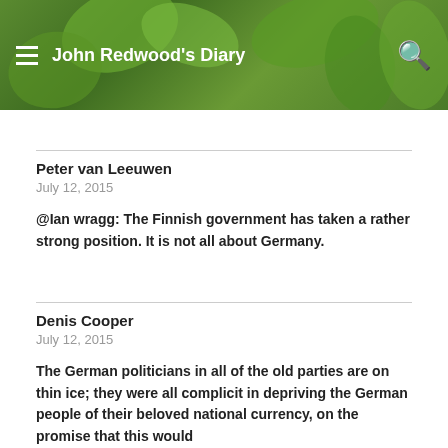John Redwood's Diary
Peter van Leeuwen
July 12, 2015
@Ian wragg: The Finnish government has taken a rather strong position. It is not all about Germany.
Denis Cooper
July 12, 2015
The German politicians in all of the old parties are on thin ice; they were all complicit in depriving the German people of their beloved national currency, on the promise that this would